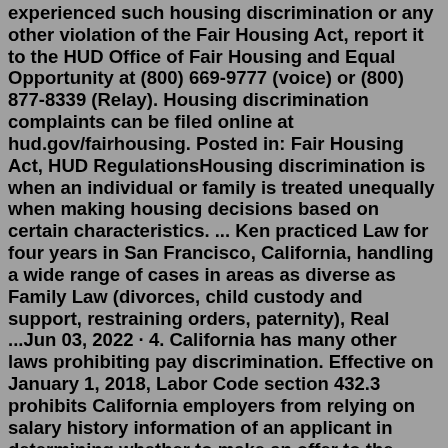experienced such housing discrimination or any other violation of the Fair Housing Act, report it to the HUD Office of Fair Housing and Equal Opportunity at (800) 669-9777 (voice) or (800) 877-8339 (Relay). Housing discrimination complaints can be filed online at hud.gov/fairhousing. Posted in: Fair Housing Act, HUD RegulationsHousing discrimination is when an individual or family is treated unequally when making housing decisions based on certain characteristics. ... Ken practiced Law for four years in San Francisco, California, handling a wide range of cases in areas as diverse as Family Law (divorces, child custody and support, restraining orders, paternity), Real ...Jun 03, 2022 · 4. California has many other laws prohibiting pay discrimination. Effective on January 1, 2018, Labor Code section 432.3 prohibits California employers from relying on salary history information of an applicant in determining whether to make an offer to the applicant, and in determining the pay to offer. Fair Employment and Housing Act (FEHA ...